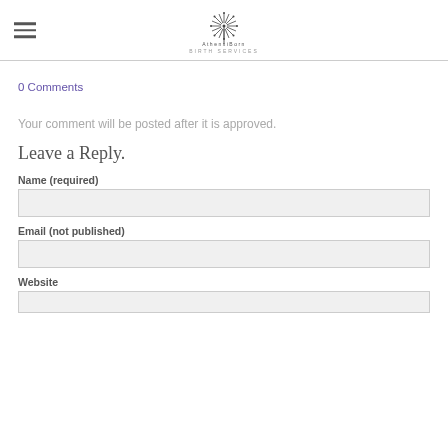[Figure (logo): Athens Born Birth Services logo with dandelion/starburst icon above the text]
0 Comments
Your comment will be posted after it is approved.
Leave a Reply.
Name (required)
Email (not published)
Website